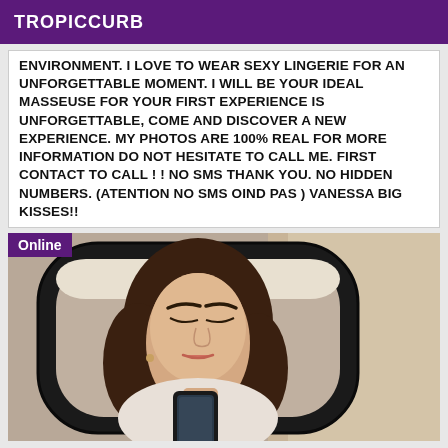TROPICCURB
ENVIRONMENT. I LOVE TO WEAR SEXY LINGERIE FOR AN UNFORGETTABLE MOMENT. I WILL BE YOUR IDEAL MASSEUSE FOR YOUR FIRST EXPERIENCE IS UNFORGETTABLE, COME AND DISCOVER A NEW EXPERIENCE. MY PHOTOS ARE 100% REAL FOR MORE INFORMATION DO NOT HESITATE TO CALL ME. FIRST CONTACT TO CALL ! ! NO SMS THANK YOU. NO HIDDEN NUMBERS. (ATENTION NO SMS OIND PAS ) VANESSA BIG KISSES!!
[Figure (photo): Woman taking a mirror selfie, brunette with dark eyebrows, holding a phone, wearing a white top, indoor setting with curtains visible. Online badge in top-left corner.]